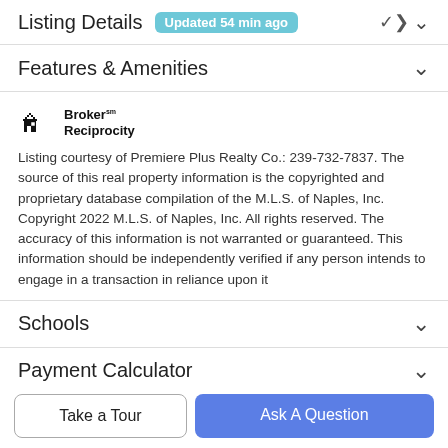Listing Details Updated 54 min ago
Features & Amenities
[Figure (logo): Broker Reciprocity logo with house icon]
Listing courtesy of Premiere Plus Realty Co.: 239-732-7837. The source of this real property information is the copyrighted and proprietary database compilation of the M.L.S. of Naples, Inc. Copyright 2022 M.L.S. of Naples, Inc. All rights reserved. The accuracy of this information is not warranted or guaranteed. This information should be independently verified if any person intends to engage in a transaction in reliance upon it
Schools
Payment Calculator
Take a Tour
Ask A Question